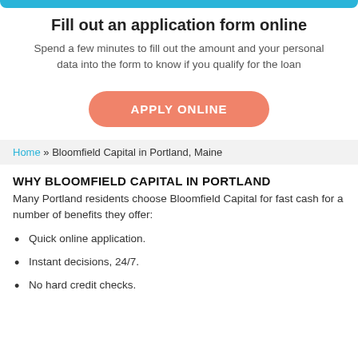Fill out an application form online
Spend a few minutes to fill out the amount and your personal data into the form to know if you qualify for the loan
[Figure (other): Orange rounded button labeled APPLY ONLINE]
Home » Bloomfield Capital in Portland, Maine
WHY BLOOMFIELD CAPITAL IN PORTLAND
Many Portland residents choose Bloomfield Capital for fast cash for a number of benefits they offer:
Quick online application.
Instant decisions, 24/7.
No hard credit checks.